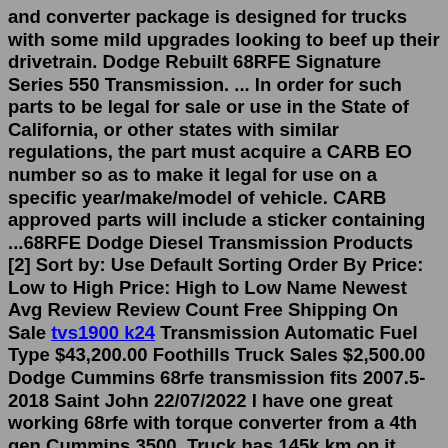and converter package is designed for trucks with some mild upgrades looking to beef up their drivetrain. Dodge Rebuilt 68RFE Signature Series 550 Transmission. ... In order for such parts to be legal for sale or use in the State of California, or other states with similar regulations, the part must acquire a CARB EO number so as to make it legal for use on a specific year/make/model of vehicle. CARB approved parts will include a sticker containing ...68RFE Dodge Diesel Transmission Products [2] Sort by: Use Default Sorting Order By Price: Low to High Price: High to Low Name Newest Avg Review Review Count Free Shipping On Sale tvs1900 k24 Transmission Automatic Fuel Type $43,200.00 Foothills Truck Sales $2,500.00 Dodge Cummins 68rfe transmission fits 2007.5-2018 Saint John 22/07/2022 I have one great working 68rfe with torque converter from a 4th gen Cummins 3500. Truck has 145k km on it transmission shifts like the day it came off the lot. Transmission will be pulled when sold.That includes